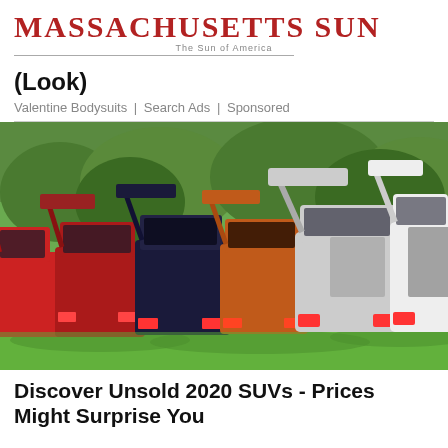Massachusetts Sun — The Sun of America
(Look)
Valentine Bodysuits | Search Ads | Sponsored
[Figure (photo): A row of SUVs parked on grass with their rear hatches/trunks open, viewed from behind. Various colors including red, silver, dark blue, and white. Green trees/hedges visible in the background.]
Discover Unsold 2020 SUVs - Prices Might Surprise You